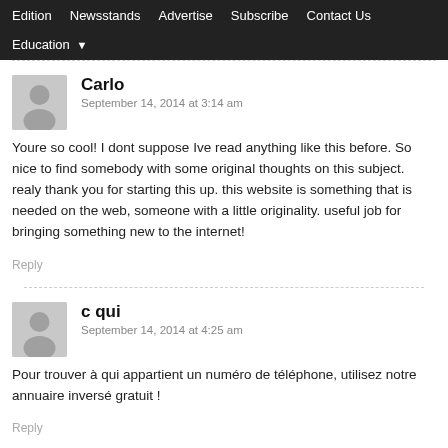Edition | Newsstands | Advertise | Subscribe | Contact Us | Education
Carlo
September 14, 2014 at 3:14 am
Youre so cool! I dont suppose Ive read anything like this before. So nice to find somebody with some original thoughts on this subject. realy thank you for starting this up. this website is something that is needed on the web, someone with a little originality. useful job for bringing something new to the internet!
c qui
September 14, 2014 at 4:25 am
Pour trouver à qui appartient un numéro de téléphone, utilisez notre annuaire inversé gratuit !